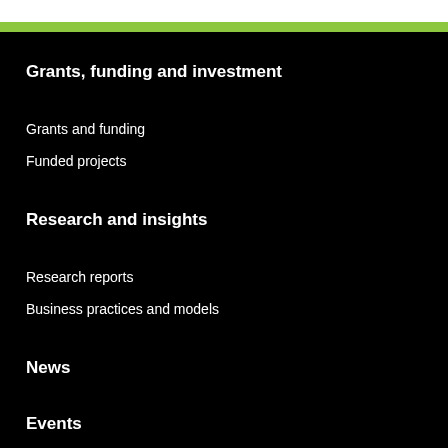Grants, funding and investment
Grants and funding
Funded projects
Research and insights
Research reports
Business practices and models
News
Events